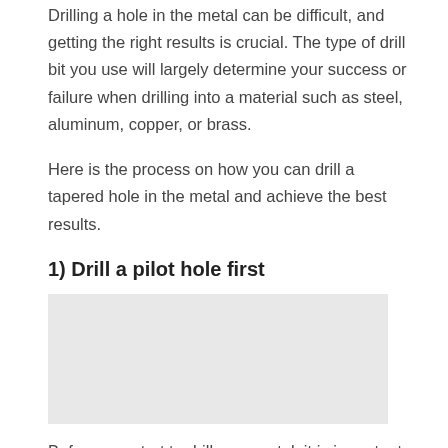Drilling a hole in the metal can be difficult, and getting the right results is crucial. The type of drill bit you use will largely determine your success or failure when drilling into a material such as steel, aluminum, copper, or brass.
Here is the process on how you can drill a tapered hole in the metal and achieve the best results.
1) Drill a pilot hole first
[Figure (photo): Photo placeholder showing drilling process]
Before you start to drill your metal, it is important that you drill a pilot hole first. This will